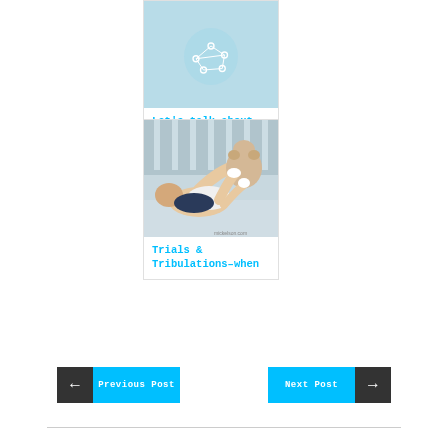[Figure (illustration): Light blue circular icon with network/web graphic (nodes and lines)]
Let's talk about sex – Anatomy 101
[Figure (photo): Photo of a baby in a diaper lying on its back on a surface, holding what appears to be a stuffed animal]
Trials & Tribulations–when
Previous Post
Next Post